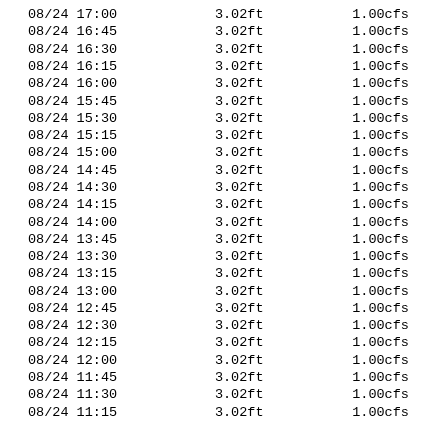| 08/24 17:00 | 3.02ft | 1.00cfs |
| 08/24 16:45 | 3.02ft | 1.00cfs |
| 08/24 16:30 | 3.02ft | 1.00cfs |
| 08/24 16:15 | 3.02ft | 1.00cfs |
| 08/24 16:00 | 3.02ft | 1.00cfs |
| 08/24 15:45 | 3.02ft | 1.00cfs |
| 08/24 15:30 | 3.02ft | 1.00cfs |
| 08/24 15:15 | 3.02ft | 1.00cfs |
| 08/24 15:00 | 3.02ft | 1.00cfs |
| 08/24 14:45 | 3.02ft | 1.00cfs |
| 08/24 14:30 | 3.02ft | 1.00cfs |
| 08/24 14:15 | 3.02ft | 1.00cfs |
| 08/24 14:00 | 3.02ft | 1.00cfs |
| 08/24 13:45 | 3.02ft | 1.00cfs |
| 08/24 13:30 | 3.02ft | 1.00cfs |
| 08/24 13:15 | 3.02ft | 1.00cfs |
| 08/24 13:00 | 3.02ft | 1.00cfs |
| 08/24 12:45 | 3.02ft | 1.00cfs |
| 08/24 12:30 | 3.02ft | 1.00cfs |
| 08/24 12:15 | 3.02ft | 1.00cfs |
| 08/24 12:00 | 3.02ft | 1.00cfs |
| 08/24 11:45 | 3.02ft | 1.00cfs |
| 08/24 11:30 | 3.02ft | 1.00cfs |
| 08/24 11:15 | 3.02ft | 1.00cfs |